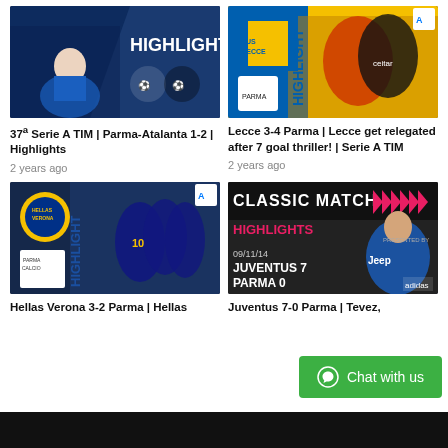[Figure (screenshot): Highlights thumbnail for Parma vs Atalanta match with HIGHLIGHTS text and team badges]
37ª Serie A TIM | Parma-Atalanta 1-2 | Highlights
2 years ago
[Figure (screenshot): Highlights thumbnail for Lecce vs Parma match with US Lecce logo and players]
Lecce 3-4 Parma | Lecce get relegated after 7 goal thriller! | Serie A TIM
2 years ago
[Figure (screenshot): Highlights thumbnail for Hellas Verona vs Parma with Hellas Verona and Parma Calcio logos]
Hellas Verona 3-2 Parma | Hellas
[Figure (screenshot): Classic Match Highlights thumbnail Juventus 7 Parma 0 09/11/14 with player in blue jersey]
Juventus 7-0 Parma | Tevez,
Chat with us